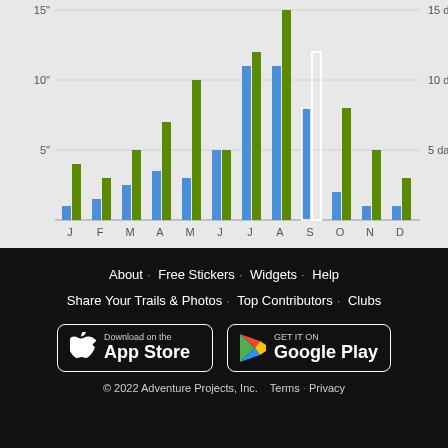[Figure (grouped-bar-chart): Monthly precipitation and rainy days]
About · Free Stickers · Widgets · Help
Share Your Trails & Photos · Top Contributors · Clubs
[Figure (other): App Store and Google Play download buttons]
© 2022 Adventure Projects, Inc.   Terms · Privacy